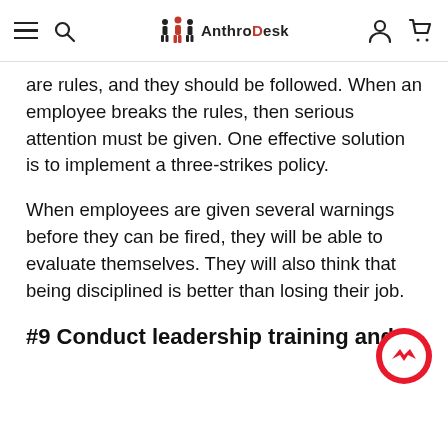AnthroDeskNav
are rules, and they should be followed. When an employee breaks the rules, then serious attention must be given. One effective solution is to implement a three-strikes policy.
When employees are given several warnings before they can be fired, they will be able to evaluate themselves. They will also think that being disciplined is better than losing their job.
#9 Conduct leadership training and